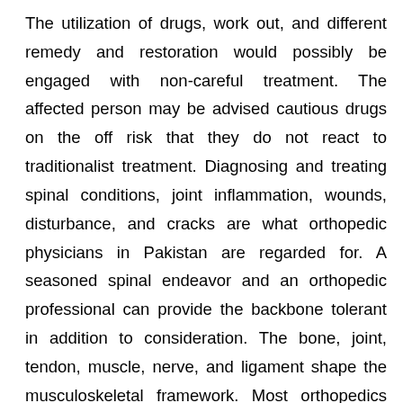The utilization of drugs, work out, and different remedy and restoration would possibly be engaged with non-careful treatment. The affected person may be advised cautious drugs on the off risk that they do not react to traditionalist treatment. Diagnosing and treating spinal conditions, joint inflammation, wounds, disturbance, and cracks are what orthopedic physicians in Pakistan are regarded for. A seasoned spinal endeavor and an orthopedic professional can provide the backbone tolerant in addition to consideration. The bone, joint, tendon, muscle, nerve, and ligament shape the musculoskeletal framework. Most orthopedics may additionally likewise be had some know-how in injury, oncology, sports activities medication, recovery, or pediatrics. Regularly, orthopedic physicians assist out different scientific care suppliers and administrations for exceptional physicians as advisors. In a multi-strength